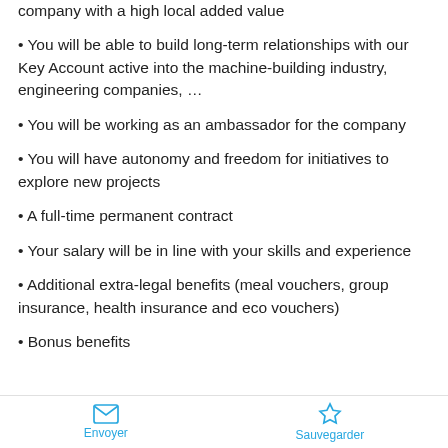company with a high local added value
• You will be able to build long-term relationships with our Key Account active into the machine-building industry, engineering companies, …
• You will be working as an ambassador for the company
• You will have autonomy and freedom for initiatives to explore new projects
• A full-time permanent contract
• Your salary will be in line with your skills and experience
• Additional extra-legal benefits (meal vouchers, group insurance, health insurance and eco vouchers)
• Bonus benefits
Envoyer   Sauvegarder